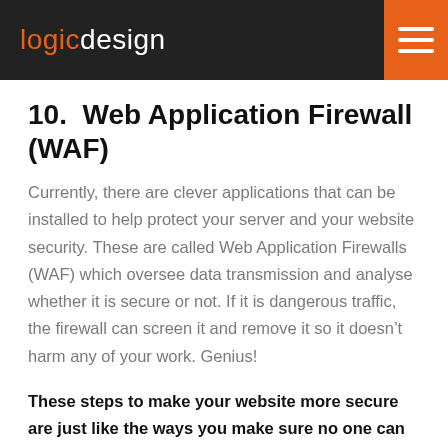logicdesign
10.  Web Application Firewall (WAF)
Currently, there are clever applications that can be installed to help protect your server and your website security. These are called Web Application Firewalls (WAF) which oversee data transmission and analyse whether it is secure or not. If it is dangerous traffic, the firewall can screen it and remove it so it doesn’t harm any of your work. Genius!
These steps to make your website more secure are just like the ways you make sure no one can break into your house. A door, a lock, a chain, a burglar alarm, they all contribute in making your home safe and secure—but to secure a website in the same…